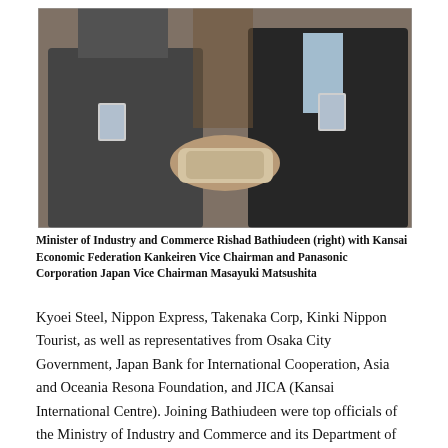[Figure (photo): Two men in suits exchanging or jointly holding a document/book. Both are wearing name badges. The photo shows a formal meeting setting.]
Minister of Industry and Commerce Rishad Bathiudeen (right) with Kansai Economic Federation Kankeiren Vice Chairman and Panasonic Corporation Japan Vice Chairman Masayuki Matsushita
Kyoei Steel, Nippon Express, Takenaka Corp, Kinki Nippon Tourist, as well as representatives from Osaka City Government, Japan Bank for International Cooperation, Asia and Oceania Resona Foundation, and JICA (Kansai International Centre). Joining Bathiudeen were top officials of the Ministry of Industry and Commerce and its Department of Commerce, as well as Ministry of Industry and Commerce Secretary T.M.K.B. Tennekoon. Matsushita stated: “After the visit of Lankan Prime Minister Ranil Wickremesinghe to Japan in early October, bilateral